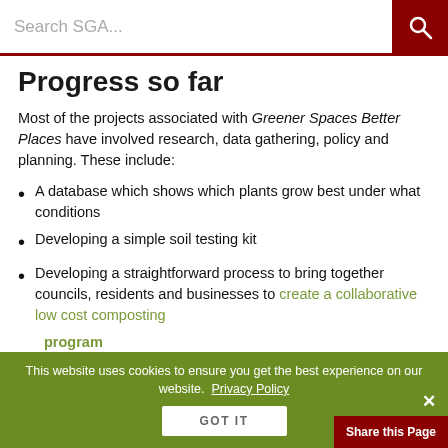Search SGA...
Progress so far
Most of the projects associated with Greener Spaces Better Places have involved research, data gathering, policy and planning. These include:
A database which shows which plants grow best under what conditions
Developing a simple soil testing kit
Developing a straightforward process to bring together councils, residents and businesses to create a collaborative low cost composting program
Projects associated with funding and investment such as... to share risks and costs of creating more green space